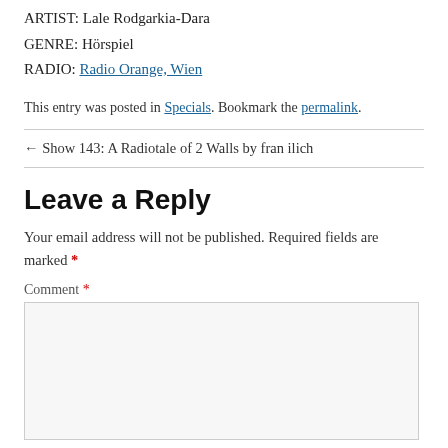ARTIST: Lale Rodgarkia-Dara
GENRE: Hörspiel
RADIO: Radio Orange, Wien
This entry was posted in Specials. Bookmark the permalink.
← Show 143: A Radiotale of 2 Walls by fran ilich
Leave a Reply
Your email address will not be published. Required fields are marked *
Comment *